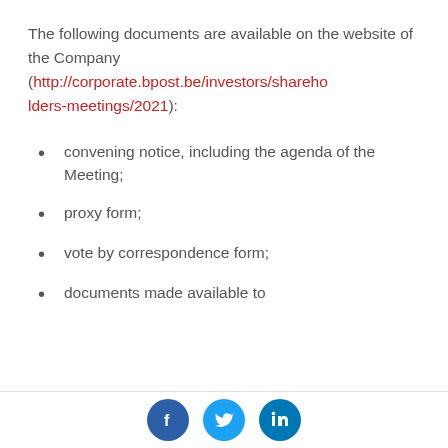The following documents are available on the website of the Company (http://corporate.bpost.be/investors/shareholders-meetings/2021):
convening notice, including the agenda of the Meeting;
proxy form;
vote by correspondence form;
documents made available to
Social media icons: Facebook, Twitter, LinkedIn